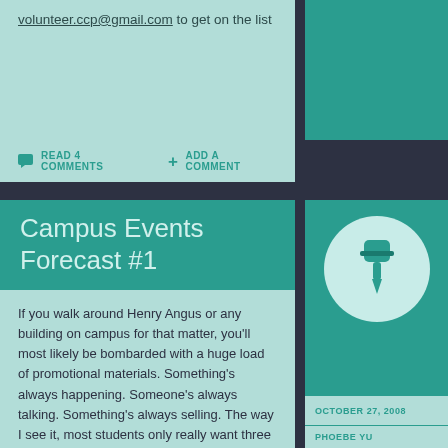volunteer.ccp@gmail.com to get on the list
READ 4 COMMENTS   ADD A COMMENT
Campus Events Forecast #1
[Figure (illustration): Teal circle with a pushpin/thumbtack icon in the center]
OCTOBER 27, 2008
PHOEBE YU
INTERNATIONAL
If you walk around Henry Angus or any building on campus for that matter, you'll most likely be bombarded with a huge load of promotional materials. Something's always happening. Someone's always talking. Something's always selling. The way I see it, most students only really want three things: a picture, a short blurb, and whether